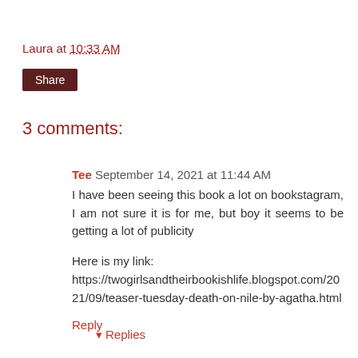Laura at 10:33 AM
Share
3 comments:
Tee  September 14, 2021 at 11:44 AM
I have been seeing this book a lot on bookstagram, I am not sure it is for me, but boy it seems to be getting a lot of publicity
Here is my link:
https://twogirlsandtheirbookishlife.blogspot.com/2021/09/teaser-tuesday-death-on-nile-by-agatha.html
Reply
▾ Replies